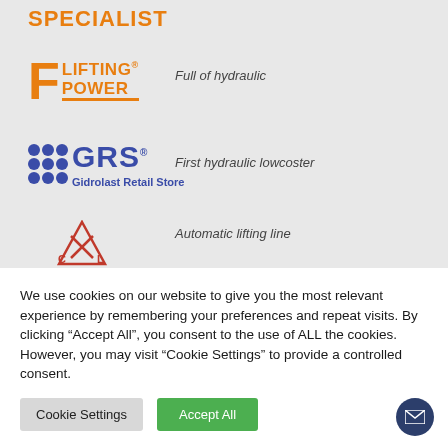SPECIALIST
[Figure (logo): F Lifting Power logo - orange F letter with LIFTING POWER text and orange underline]
Full of hydraulic
[Figure (logo): GRS Gidrolast Retail Store logo - blue dots grid with GRS text]
First hydraulic lowcoster
[Figure (logo): CXL logo with X mark and C and L letters]
Automatic lifting line
We use cookies on our website to give you the most relevant experience by remembering your preferences and repeat visits. By clicking “Accept All”, you consent to the use of ALL the cookies. However, you may visit “Cookie Settings” to provide a controlled consent.
Cookie Settings | Accept All